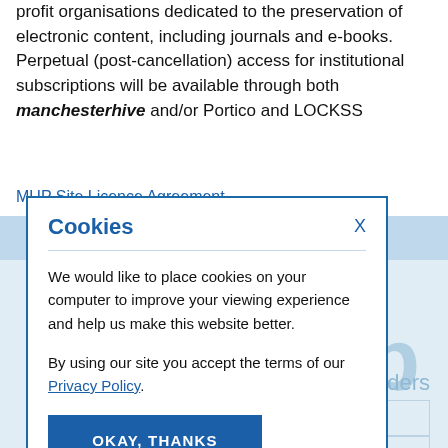profit organisations dedicated to the preservation of electronic content, including journals and e-books. Perpetual (post-cancellation) access for institutional subscriptions will be available through both manchesterhive and/or Portico and LOCKSS
MUP Site Licence Agreement
[Figure (screenshot): Cookie consent modal dialog with title 'Cookies', an X close button, descriptive text about placing cookies, a Privacy Policy link, and an OKAY, THANKS button. Shown overlaid on a webpage with a light blue background section visible behind.]